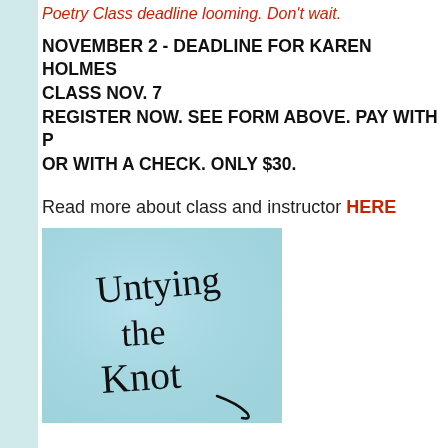Poetry Class deadline looming. Don't wait.
NOVEMBER 2 - DEADLINE FOR KAREN HOLMES CLASS NOV. 7
REGISTER NOW. SEE FORM ABOVE. PAY WITH [PayPal]
OR WITH A CHECK. ONLY $30.
Read more about class and instructor HERE
[Figure (photo): An image with cursive handwriting on a light blue background reading 'Untying the Knot']